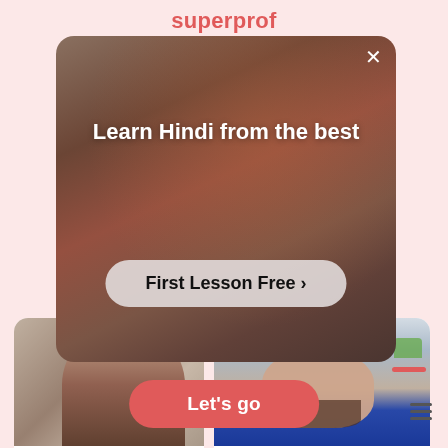superprof
[Figure (screenshot): A mobile app advertisement overlay showing a person with arms outstretched in a room, with the text 'Learn Hindi from the best' and a 'First Lesson Free >' call-to-action button. A close (X) button is in the top right corner.]
reviews)
ngi
1st class free!
[Figure (photo): A tutor profile photo showing a young man with a beard wearing a blue shirt, smiling.]
5 (17 reviews)
Prabhjot
₹250/h  🏠1st class free!
Let's go